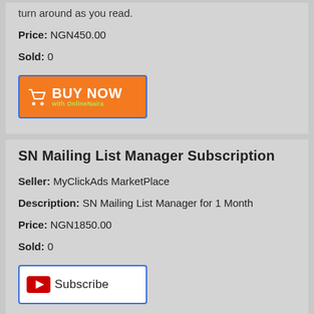turn around as you read.
Price: NGN450.00
Sold: 0
[Figure (illustration): Orange 'BUY NOW with OnlineNaira' button with shopping cart icon, bordered in blue]
SN Mailing List Manager Subscription
Seller: MyClickAds MarketPlace
Description: SN Mailing List Manager for 1 Month
Price: NGN1850.00
Sold: 0
[Figure (illustration): YouTube-style 'Subscribe' button with red play icon, bordered in blue]
...